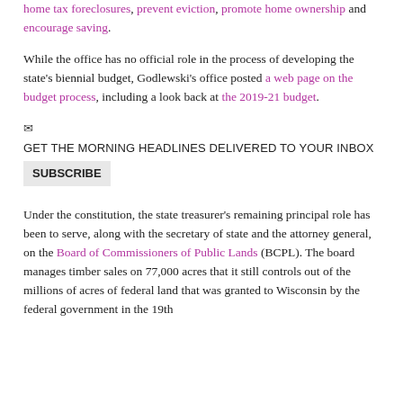combat home tax foreclosures, prevent eviction, promote home ownership and encourage saving.
While the office has no official role in the process of developing the state's biennial budget, Godlewski's office posted a web page on the budget process, including a look back at the 2019-21 budget.
GET THE MORNING HEADLINES DELIVERED TO YOUR INBOX
SUBSCRIBE
Under the constitution, the state treasurer's remaining principal role has been to serve, along with the secretary of state and the attorney general, on the Board of Commissioners of Public Lands (BCPL). The board manages timber sales on 77,000 acres that it still controls out of the millions of acres of federal land that was granted to Wisconsin by the federal government in the 19th